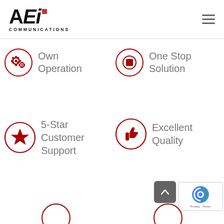[Figure (logo): AEi Communications logo with bold black AEi text, red square accent on the i, and COMMUNICATIONS subtitle below]
Own Operation
One Stop Solution
5-Star Customer Support
Excellent Quality